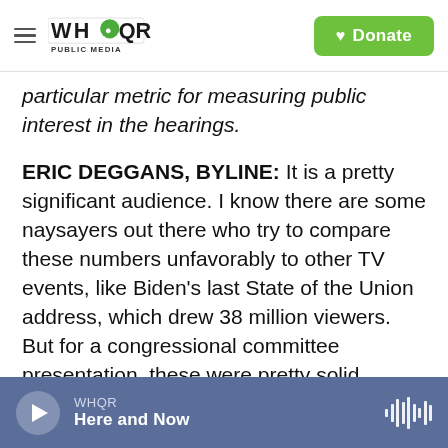WHQR PUBLIC MEDIA — Donate
particular metric for measuring public interest in the hearings.
ERIC DEGGANS, BYLINE: It is a pretty significant audience. I know there are some naysayers out there who try to compare these numbers unfavorably to other TV events, like Biden's last State of the Union address, which drew 38 million viewers. But for a congressional committee presentation, these were pretty solid numbers, indicating a wide array of people were interested in this material. And it's worth noting that these figures don't include online viewership. They don't
WHQR — Here and Now